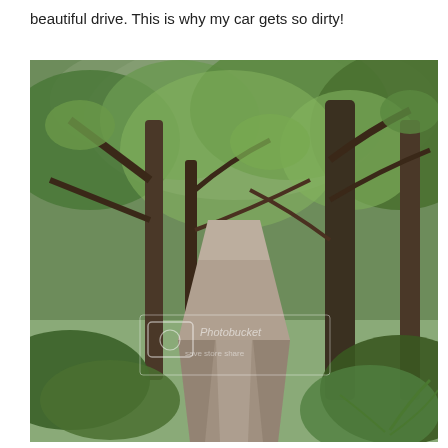beautiful drive.  This is why my car gets so dirty!
[Figure (photo): A narrow dirt/gravel road winding through a lush green forest with tall moss-covered trees arching overhead. Dense green undergrowth lines both sides of the road. A Photobucket watermark is visible in the lower-center area of the image.]